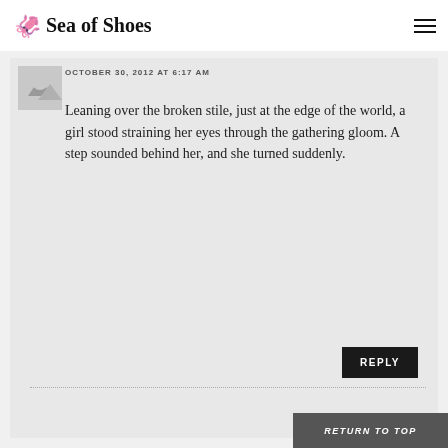Sea of Shoes
OCTOBER 30, 2012 AT 6:17 AM
Leaning over the broken stile, just at the edge of the world, a girl stood straining her eyes through the gathering gloom. A step sounded behind her, and she turned suddenly.
REPLY
RETURN TO TOP